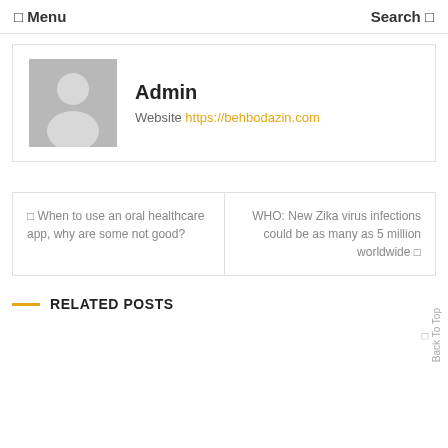☰ Menu   Search 🔍
[Figure (illustration): Admin author card with gray avatar silhouette, name 'Admin', and website link https://behbodazin.com]
Admin
Website https://behbodazin.com
← When to use an oral healthcare app, why are some not good?
WHO: New Zika virus infections could be as many as 5 million worldwide →
RELATED POSTS